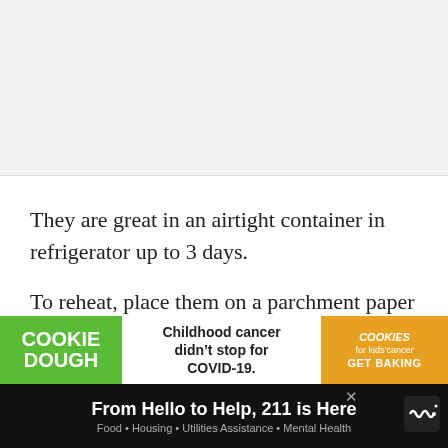[Figure (photo): Food photograph placeholder at top of page, light gray background]
They are great in an airtight container in refrigerator up to 3 days.
To reheat, place them on a parchment paper lined baking sheet covered with aluminum foil. Bake at 350 degrees for about 15-20 minutes. You can also reheat in the microwave.
[Figure (photo): What's Next panel: Shrimp Creole with Sausage recipe thumbnail]
[Figure (infographic): Cookie Dough ad banner: Childhood cancer didn't stop for COVID-19.]
[Figure (infographic): Bottom banner ad: From Hello to Help, 211 is Here. Food, Housing, Utilities Assistance, Mental Health.]